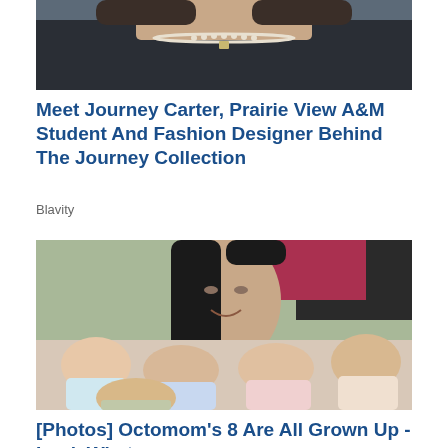[Figure (photo): Partial photo of a woman wearing a dark top and pearl necklace, cropped at the top]
Meet Journey Carter, Prairie View A&M Student And Fashion Designer Behind The Journey Collection
Blavity
[Figure (photo): A woman with long dark hair holding multiple newborn babies, with another person visible in the background]
[Photos] Octomom's 8 Are All Grown Up - Look What